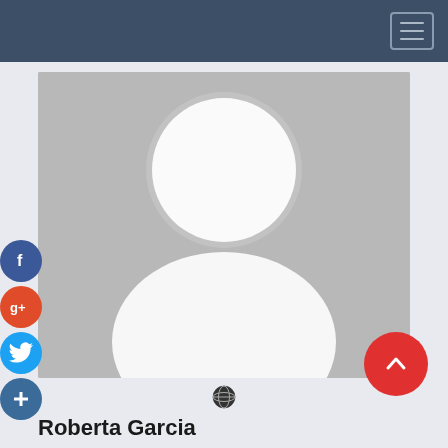Navigation bar with hamburger menu
[Figure (illustration): Generic user avatar silhouette - grey background with white person outline (head circle and body/shoulders)]
[Figure (logo): Facebook social share icon - dark blue circle with white 'f']
[Figure (logo): Google+ social share icon - red circle with white 'g+']
[Figure (logo): Twitter social share icon - light blue circle with white bird]
[Figure (logo): Add/plus social icon - dark blue circle with white '+']
[Figure (logo): Globe/world icon below avatar]
[Figure (infographic): Red circular scroll-to-top button with white upward chevron]
Roberta Garcia